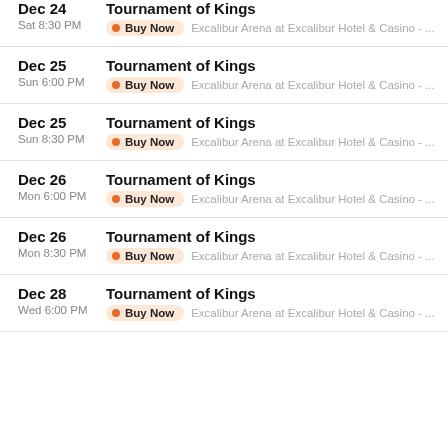Dec 24 Sat 8:30 PM - Tournament of Kings - Buy Now - Excalibur Arena at Excalibur Hotel & Casino - ...
Dec 25 Sun 6:00 PM - Tournament of Kings - Buy Now - Excalibur Arena at Excalibur Hotel & Casino - ...
Dec 25 Sun 8:30 PM - Tournament of Kings - Buy Now - Excalibur Arena at Excalibur Hotel & Casino - ...
Dec 26 Mon 6:00 PM - Tournament of Kings - Buy Now - Excalibur Arena at Excalibur Hotel & Casino - ...
Dec 26 Mon 8:30 PM - Tournament of Kings - Buy Now - Excalibur Arena at Excalibur Hotel & Casino - ...
Dec 28 Wed 6:00 PM - Tournament of Kings - Buy Now - Excalibur Arena at Excalibur Hotel & Casino - ...